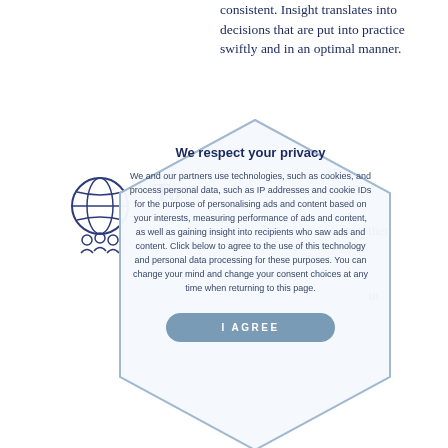consistent. Insight translates into decisions that are put into practice swiftly and in an optimal manner.
To
[Figure (illustration): Hexagonal icon with globe and people silhouettes, dark blue outline style]
ther,

in
[Figure (illustration): Hexagonal cookie/privacy consent overlay dialog box with title 'We respect your privacy', body text about cookies and personal data, and an I AGREE button]
[Figure (illustration): Profile/head icon with thought bubble, dark blue outline style]
goals are
ements are
clearly den... ponsibilities and resources we are entr u... vith as our own.
[Figure (illustration): Partial hexagonal icon at bottom center]